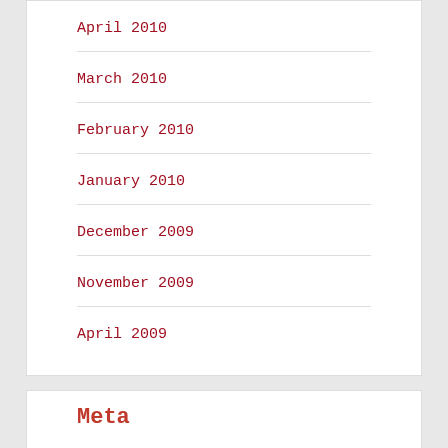April 2010
March 2010
February 2010
January 2010
December 2009
November 2009
April 2009
Meta